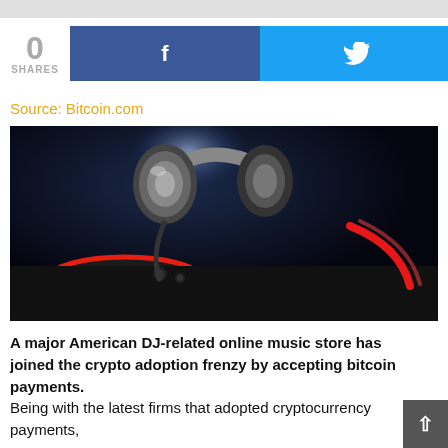0
SHARES
[Figure (screenshot): Facebook share button (blue) and Twitter share button (cyan) social sharing buttons]
Source: Bitcoin.com
[Figure (photo): DJ controller/turntable with headphones resting on it, glowing red rings and yellow buttons, dark moody blue lighting in a nightclub setting]
A major American DJ-related online music store has joined the crypto adoption frenzy by accepting bitcoin payments.
Being with the latest firms that adopted cryptocurrency payments,